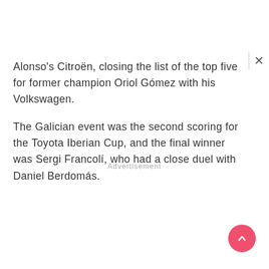Alonso's Citroën, closing the list of the top five for former champion Oriol Gómez with his Volkswagen.

The Galician event was the second scoring for the Toyota Iberian Cup, and the final winner was Sergi Francolí, who had a close duel with Daniel Berdomás.
Advertisement